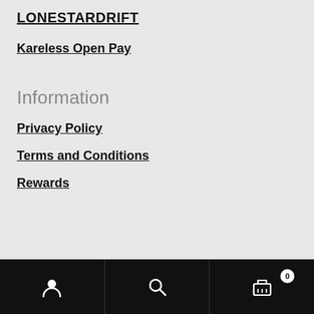LONESTARDRIFT
Kareless Open Pay
Information
Privacy Policy
Terms and Conditions
Rewards
User icon | Search icon | Cart icon with badge 0